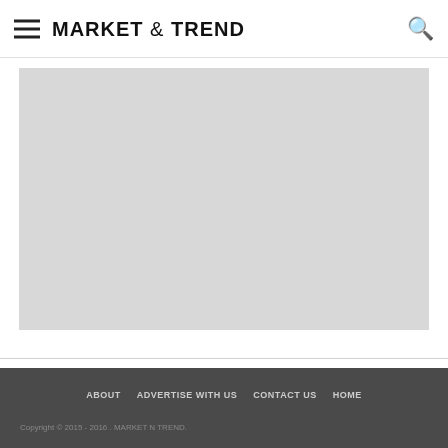MARKET & TREND
[Figure (other): Large light gray placeholder image/advertisement box]
ABOUT   ADVERTISE WITH US   CONTACT US   HOME
Copyright © 2015-2016 . MARKET N TREND.